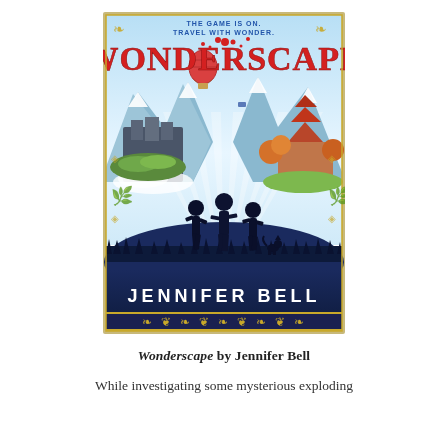[Figure (illustration): Book cover of 'Wonderscape' by Jennifer Bell. Features colorful fantasy artwork with three children silhouettes standing on a hill, with floating islands, mountains, hot air balloon, and a pagoda in the background. Title in large red letters 'WONDERSCAPE', tagline 'THE GAME IS ON. TRAVEL WITH WONDER.' at top in blue. Author name 'JENNIFER BELL' at the bottom in white letters on dark blue background with decorative gold border.]
Wonderscape by Jennifer Bell
While investigating some mysterious exploding